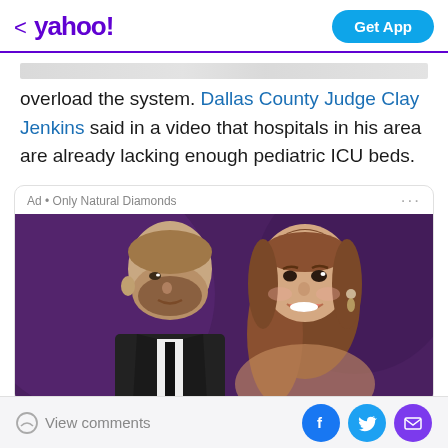< yahoo!  Get App
overload the system. Dallas County Judge Clay Jenkins said in a video that hospitals in his area are already lacking enough pediatric ICU beds.
[Figure (photo): Advertisement photo showing two celebrities close together, man in suit and woman with long hair, against a purple background. Ad label: 'Ad • Only Natural Diamonds']
16 Celebrity Engagement Rings
View comments  [Facebook] [Twitter] [Mail]